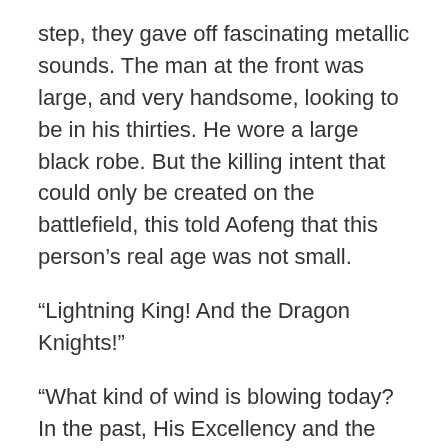step, they gave off fascinating metallic sounds. The man at the front was large, and very handsome, looking to be in his thirties. He wore a large black robe. But the killing intent that could only be created on the battlefield, this told Aofeng that this person’s real age was not small.
“Lightning King! And the Dragon Knights!”
“What kind of wind is blowing today? In the past, His Excellency and the Dragon Knights did not attend the banquet.”
“I think it is for His Excellency Qin Aofeng. Do not